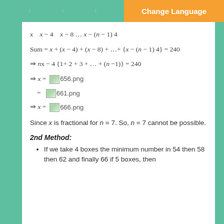Change Language
Since x is fractional for n = 7. So, n = 7 cannot be possible.
2nd Method:
If we take 4 boxes the minimum number in 54 then 58 then 62 and finally 66 if 5 boxes, then